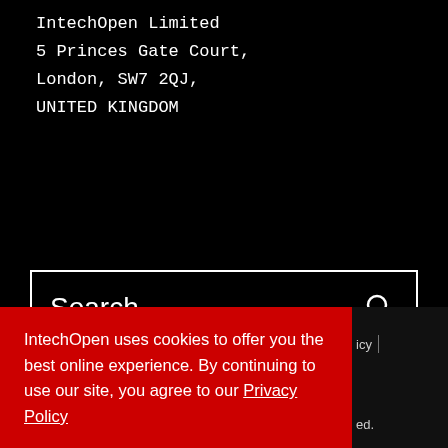IntechOpen Limited
5 Princes Gate Court,
London, SW7 2QJ,
UNITED KINGDOM
[Figure (screenshot): Search input box with placeholder text 'Search' and a magnifying glass icon on a black background]
[Figure (screenshot): Red button labeled 'AUTHOR PANEL SIGN IN' in white uppercase letters]
IntechOpen uses cookies to offer you the best online experience. By continuing to use our site, you agree to our Privacy Policy
Got it!
icy
ed.